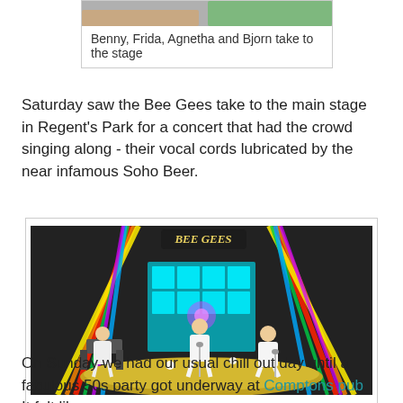Benny, Frida, Agnetha and Bjorn take to the stage
Saturday saw the Bee Gees take to the main stage in Regent's Park for a concert that had the crowd singing along - their vocal cords lubricated by the near infamous Soho Beer.
[Figure (photo): 3D virtual rendering of the Bee Gees on stage with colorful laser lights, performers in white suits, one at keyboard, two at microphones on a circular stage platform]
Yes...it's the Bee Gees resplendent in white suits and big hair
On Sunday we had our usual chill out day until a fabulous 50s party got underway at Comptons pub.  It felt like we